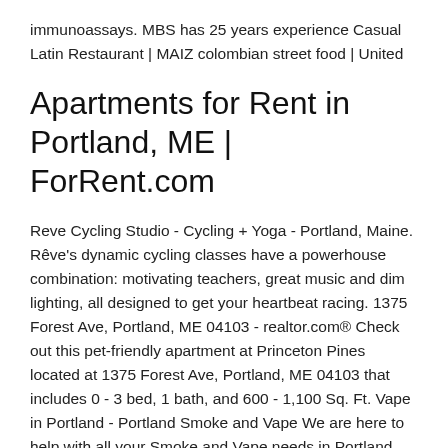immunoassays. MBS has 25 years experience Casual Latin Restaurant | MAIZ colombian street food | United
Apartments for Rent in Portland, ME | ForRent.com
Reve Cycling Studio - Cycling + Yoga - Portland, Maine. Rêve's dynamic cycling classes have a powerhouse combination: motivating teachers, great music and dim lighting, all designed to get your heartbeat racing. 1375 Forest Ave, Portland, ME 04103 - realtor.com® Check out this pet-friendly apartment at Princeton Pines located at 1375 Forest Ave, Portland, ME 04103 that includes 0 - 3 bed, 1 bath, and 600 - 1,100 Sq. Ft. Vape in Portland - Portland Smoke and Vape We are here to help with all your Smoke and Vape needs in Portland Maine, on the border of Westbrook in the 1041 Brighton Ave Shopping center. We are set on becoming the